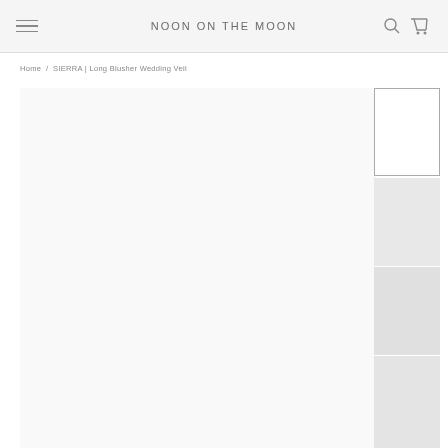NOON ON THE MOON
Home / SIERRA | Long Blusher Wedding Veil
[Figure (photo): Main large product image area - blank/loading state for a wedding veil product photo]
[Figure (photo): Thumbnail 1 - selected state with border outline]
[Figure (photo): Thumbnail 2 - gray placeholder]
[Figure (photo): Thumbnail 3 - gray placeholder]
[Figure (photo): Thumbnail 4 - gray placeholder, partially visible]